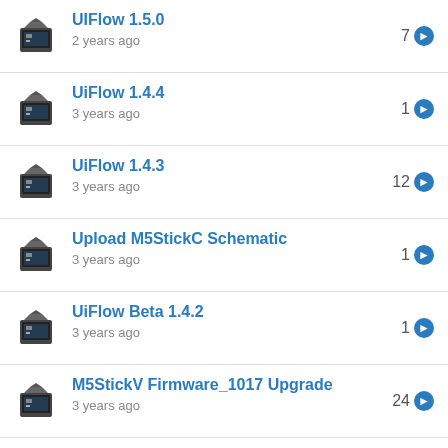UIFlow 1.5.0
2 years ago
7
UiFlow 1.4.4
3 years ago
1
UiFlow 1.4.3
3 years ago
12
Upload M5StickC Schematic
3 years ago
1
UiFlow Beta 1.4.2
3 years ago
1
M5StickV Firmware_1017 Upgrade
3 years ago
24